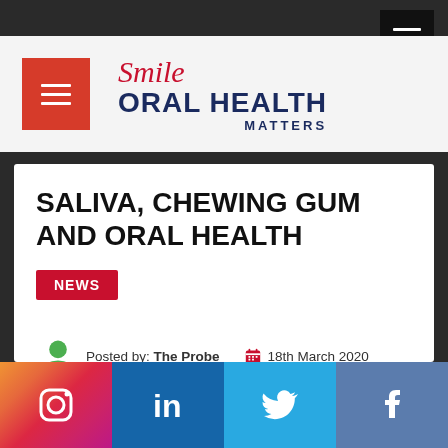Smile Oral Health Matters
SALIVA, CHEWING GUM AND ORAL HEALTH
NEWS
Posted by: The Probe   18th March 2020
[Figure (screenshot): Social media share bar with Instagram, LinkedIn, Twitter, and Facebook icons]